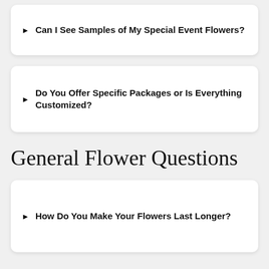Can I See Samples of My Special Event Flowers?
Do You Offer Specific Packages or Is Everything Customized?
General Flower Questions
How Do You Make Your Flowers Last Longer?